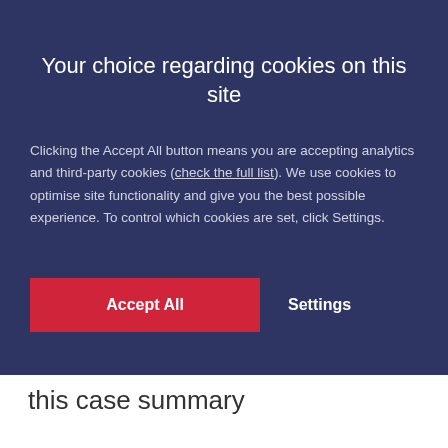Your choice regarding cookies on this site
Clicking the Accept All button means you are accepting analytics and third-party cookies (check the full list). We use cookies to optimise site functionality and give you the best possible experience. To control which cookies are set, click Settings.
Accept All
Settings
this case summary